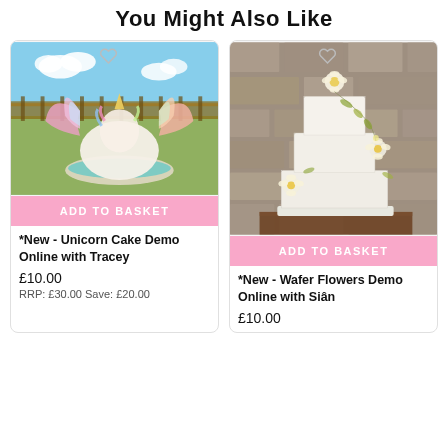You Might Also Like
[Figure (photo): A decorative unicorn-themed cake with colorful wings displayed on a table outdoors with blue sky background]
ADD TO BASKET
*New - Unicorn Cake Demo Online with Tracey
£10.00
RRP: £30.00 Save: £20.00
[Figure (photo): A white tiered wedding cake decorated with delicate wafer flowers and leaves against a stone wall background]
ADD TO BASKET
*New - Wafer Flowers Demo Online with Siân
£10.00